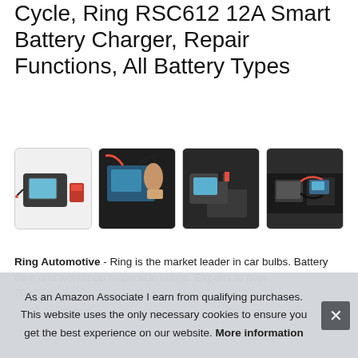Cycle, Ring RSC612 12A Smart Battery Charger, Repair Functions, All Battery Types
[Figure (photo): Four product thumbnail images showing the Ring RSC612 battery charger in various settings: product shot with packaging, charger connected to car battery, charger on car battery, charger in engine bay.]
Ring Automotive - Ring is the market leader in car bulbs. Battery care and workshop inspection lamps. Exports to over 70 c...
As an Amazon Associate I earn from qualifying purchases. This website uses the only necessary cookies to ensure you get the best experience on our website. More information